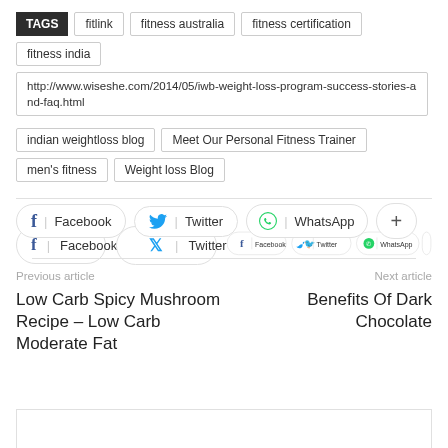TAGS  fitlink  fitness australia  fitness certification  fitness india
http://www.wiseshe.com/2014/05/iwb-weight-loss-program-success-stories-and-faq.html
indian weightloss blog  Meet Our Personal Fitness Trainer
men's fitness  Weight loss Blog
[Figure (infographic): Social share buttons: Facebook, Twitter, WhatsApp, and a plus button]
Previous article
Next article
Low Carb Spicy Mushroom Recipe – Low Carb Moderate Fat
Benefits Of Dark Chocolate